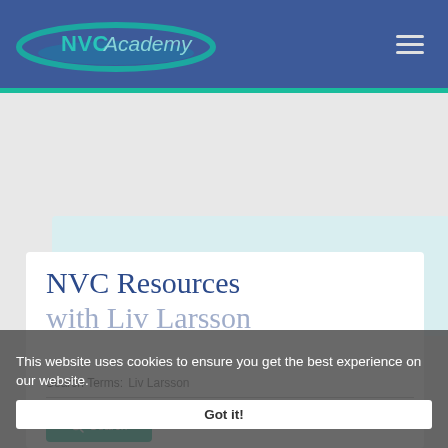[Figure (logo): NVC Academy logo — teal/green swoosh design with 'NVCAcademy' text on blue header background]
[Figure (logo): NVC Library logo — teal italic serif text reading 'NVCLibrary' with underline]
Search the Library
NVC Resources with Liv Larsson
Search Terms: Liv Larsson
This website uses cookies to ensure you get the best experience on our website.
Got it!